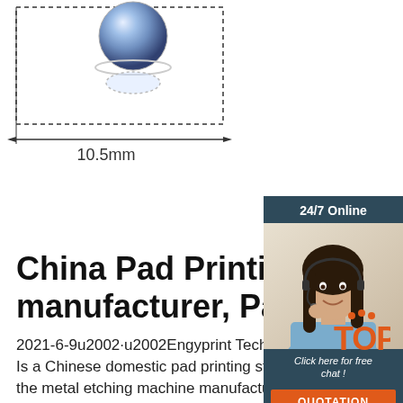[Figure (engineering-diagram): Technical diagram of a round pad printing cliché/plate showing a dotted rectangle border with dimension arrow indicating 10.5mm width, with a reflective spherical/dome element visible at top center]
[Figure (photo): Side banner showing '24/7 Online' label, customer service representative woman with headset smiling, 'Click here for free chat!' text, and orange QUOTATION button]
China Pad Printing Cliché manufacturer, Pad for …
2021-6-9u2002·u2002Engyprint Tech Company Ltd. Is a Chinese domestic pad printing steel plate and the metal etching machine manufacturer, we are engaged in pad printing steel plate manufacturer and the engraving materials business of 8…